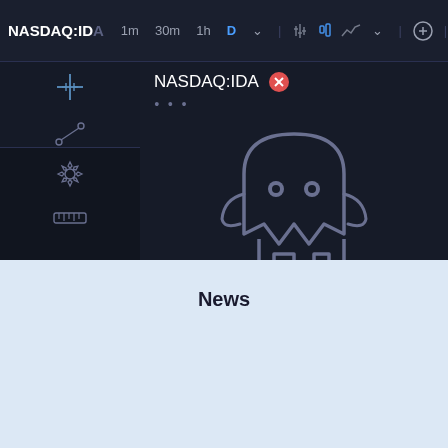NASDAQ:IDA  1m  30m  1h  D
NASDAQ:IDA
...
[Figure (illustration): Ghost/robot mascot illustration indicating an invalid or unavailable chart symbol]
Invalid symbol
Date Range  %  log  aut
News